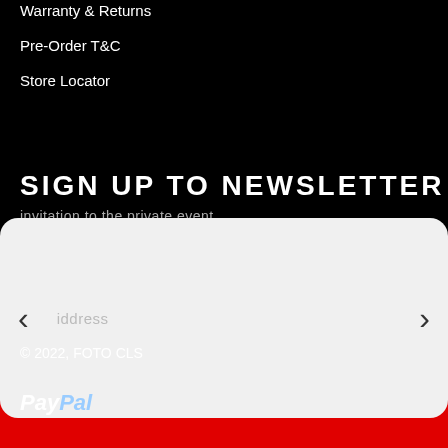Warranty & Returns
Pre-Order T&C
Store Locator
SIGN UP TO NEWSLETTER
invitation to the private event.
iddress
© 2022, FOTO CLS
[Figure (logo): PayPal logo in white italic text]